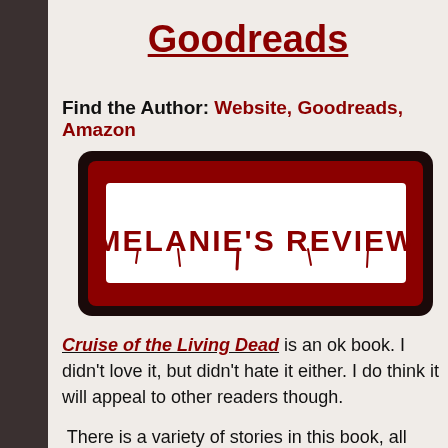Goodreads
Find the Author: Website, Goodreads, Amazon
[Figure (illustration): Melanie's Review banner image — dark red background with white rectangular label reading MELANIE'S REVIEW in horror-style dripping text]
Cruise of the Living Dead is an ok book. I didn't love it, but didn't hate it either. I do think it will appeal to other readers though.
There is a variety of stories in this book, all within the zombie realm that others will probably enjoy. I felt like some of the stories were just a bit too short and felt unfinished. I did like the creativity the author used in writing these stories. There isn't a particular story that stands out more or less than am